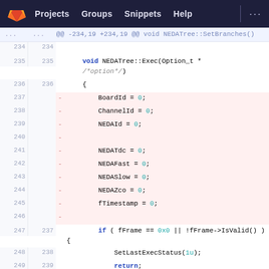GitLab navigation: Projects | Groups | Snippets | Help | ...
[Figure (screenshot): GitLab diff view showing code changes to NEDATree::Exec function. Lines 234-249 shown with deleted lines (237-246) highlighted in pink showing removal of initialization statements (BoardId=0, ChannelId=0, NEDAId=0, NEDATdc=0, NEDAFast=0, NEDASlow=0, NEDAZco=0, fTimestamp=0) and context lines showing function signature, braces, and if-statement checking fFrame.]